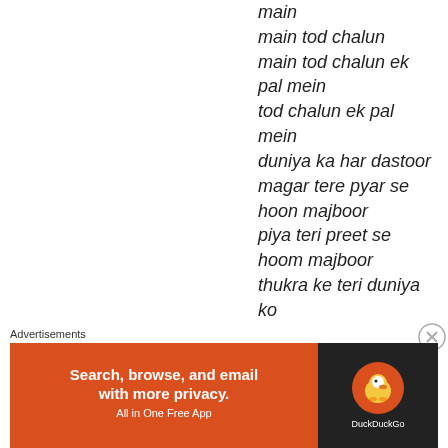main
main tod chalun
main tod chalun ek pal mein
tod chalun ek pal mein
duniya ka har dastoor
magar tere pyar se
hoon majboor
piya teri preet se
hoom majboor
thukra ke teri duniya ko
Advertisements
[Figure (other): DuckDuckGo advertisement banner: orange left section with text 'Search, browse, and email with more privacy. All in One Free App' and dark right section with DuckDuckGo logo and name.]